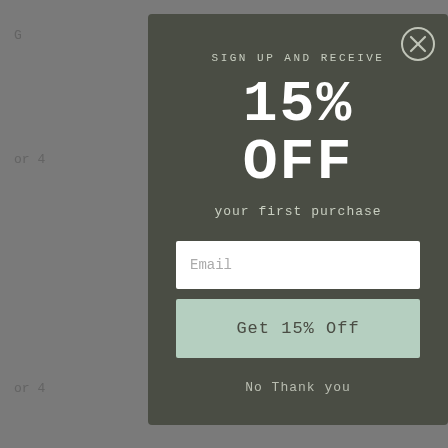G
g
or 4
e
SIGN UP AND RECEIVE
15% OFF
your first purchase
Email
Get 15% Off
No Thank you
or 4
e